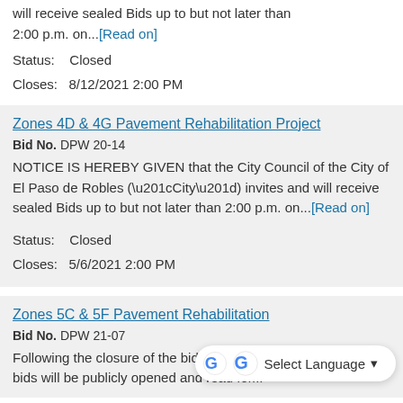will receive sealed Bids up to but not later than 2:00 p.m. on...[Read on]
Status:   Closed
Closes:  8/12/2021 2:00 PM
Zones 4D & 4G Pavement Rehabilitation Project
Bid No. DPW 20-14
NOTICE IS HEREBY GIVEN that the City Council of the City of El Paso de Robles (“City”) invites and will receive sealed Bids up to but not later than 2:00 p.m. on...[Read on]
Status:   Closed
Closes:  5/6/2021 2:00 PM
Zones 5C & 5F Pavement Rehabilitation
Bid No. DPW 21-07
Following the closure of the bid submission period, bids will be publicly opened and read for...